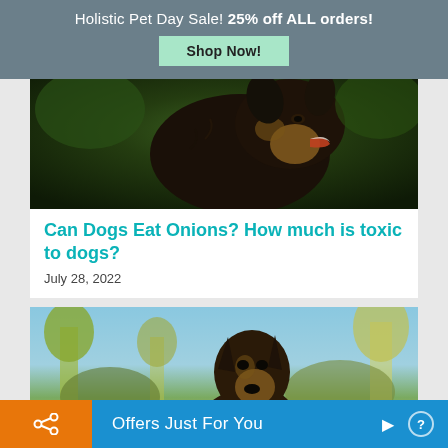Holistic Pet Day Sale! 25% off ALL orders!
Shop Now!
[Figure (photo): Close-up photo of a German Shepherd dog with mouth open, dark fur with tan markings, green bokeh background]
Can Dogs Eat Onions? How much is toxic to dogs?
July 28, 2022
[Figure (photo): German Shepherd dog sitting outdoors in a forest/park setting, looking upward, with trees and foliage in the background]
Offers Just For You ▶